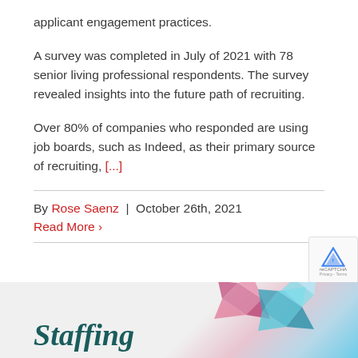applicant engagement practices.
A survey was completed in July of 2021 with 78 senior living professional respondents. The survey revealed insights into the future path of recruiting.
Over 80% of companies who responded are using job boards, such as Indeed, as their primary source of recruiting, [...]
By Rose Saenz  |  October 26th, 2021
Read More ›
[Figure (illustration): Staffing banner with geometric origami-style decorative shapes in pink, teal, and blue on a light background with the word 'Staffing' in dark teal italic font.]